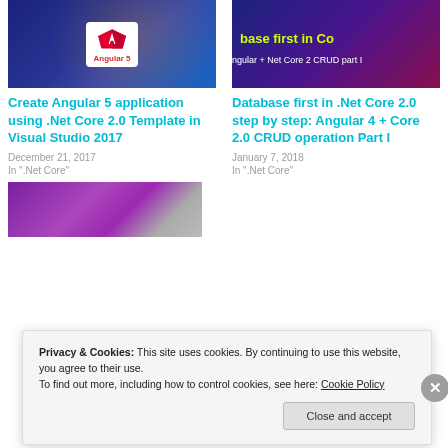[Figure (screenshot): Angular 5 thumbnail with logo badge on dark blue background]
Create Angular 5 application using .Net Core 2.0 Template in Visual Studio 2017
December 21, 2017
In ".Net Core"
[Figure (screenshot): Database first in .Net Core 2.0 thumbnail with yellow-green text on dark background]
Database first in .Net Core 2.0 step by step: Angular 4 + Core 2.0 CRUD operation Part I
January 7, 2018
In ".Net Core"
[Figure (screenshot): Purple/grey thumbnail image partially visible]
Privacy & Cookies: This site uses cookies. By continuing to use this website, you agree to their use.
To find out more, including how to control cookies, see here: Cookie Policy
Close and accept